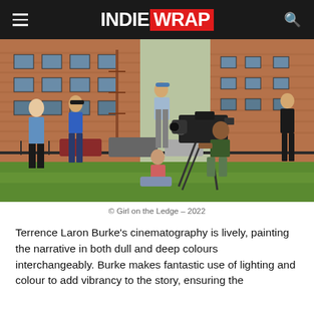INDIE WRAP
[Figure (photo): Film crew on location outdoors on a grassy area in front of a brick apartment building. Multiple crew members visible including a cinematographer operating a large camera on a tripod, a person seated on the ground near the camera, and several other crew members standing. Urban setting with parked cars and fire escapes visible.]
© Girl on the Ledge – 2022
Terrence Laron Burke's cinematography is lively, painting the narrative in both dull and deep colours interchangeably. Burke makes fantastic use of lighting and colour to add vibrancy to the story, ensuring the